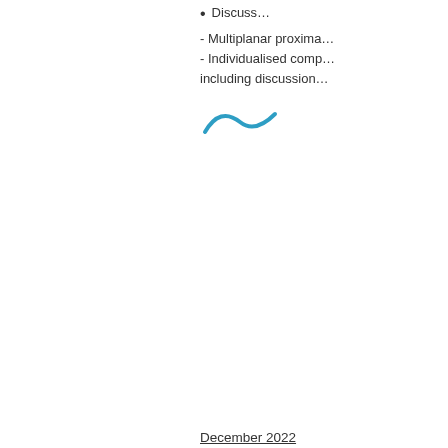Discuss…
- Multiplanar proxima…
- Individualised comp…
including discussion…
[Figure (illustration): Blue arc/wave signature or logo graphic]
December 2022
Title: Rare Bone Dis… Ossificans Progres…